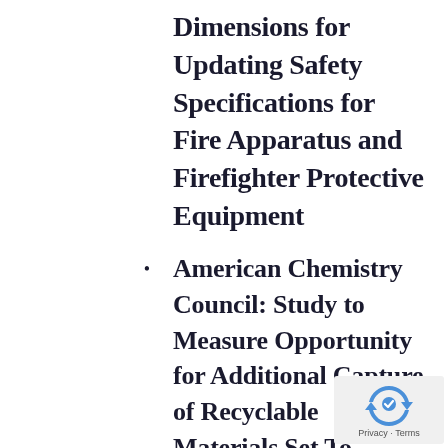Dimensions for Updating Safety Specifications for Fire Apparatus and Firefighter Protective Equipment
American Chemistry Council: Study to Measure Opportunity for Additional Capture of Recyclable Materials Set To Launch in Northeastern US
NIOSH: Controls for Noise Exposure and the Hierarchy of